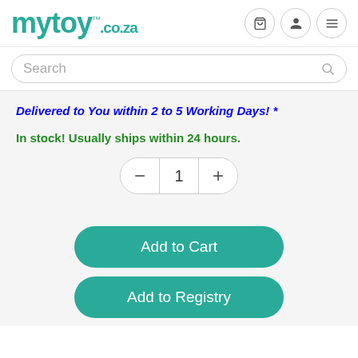mytoy.co.za — navigation header with cart, user, and menu icons
Search
Delivered to You within 2 to 5 Working Days! *
In stock! Usually ships within 24 hours.
[Figure (other): Quantity selector showing minus button, value 1, plus button]
Add to Cart
Add to Registry